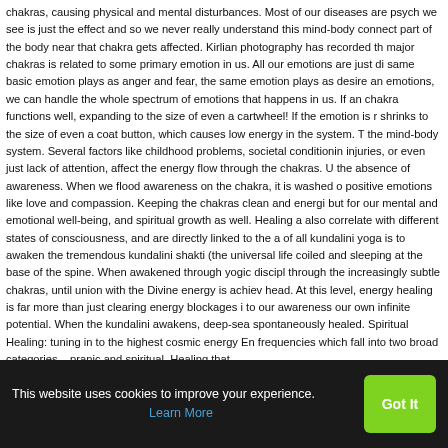chakras, causing physical and mental disturbances. Most of our diseases are psycho we see is just the effect and so we never really understand this mind-body connect part of the body near that chakra gets affected. Kirlian photography has recorded th major chakras is related to some primary emotion in us. All our emotions are just di same basic emotion plays as anger and fear, the same emotion plays as desire an emotions, we can handle the whole spectrum of emotions that happens in us. If an chakra functions well, expanding to the size of even a cartwheel! If the emotion is r shrinks to the size of even a coat button, which causes low energy in the system. T the mind-body system. Several factors like childhood problems, societal conditionin injuries, or even just lack of attention, affect the energy flow through the chakras. U the absence of awareness. When we flood awareness on the chakra, it is washed o positive emotions like love and compassion. Keeping the chakras clean and energi but for our mental and emotional well-being, and spiritual growth as well. Healing a also correlate with different states of consciousness, and are directly linked to the a of all kundalini yoga is to awaken the tremendous kundalini shakti (the universal life coiled and sleeping at the base of the spine. When awakened through yogic discipl through the increasingly subtle chakras, until union with the Divine energy is achiev head. At this level, energy healing is far more than just clearing energy blockages i to our awareness our own infinite potential. When the kundalini awakens, deep-sea spontaneously healed. Spiritual Healing: tuning in to the highest cosmic energy En frequencies which fall into two broad categories – pranic and spiritual. Healing that
This website uses cookies to improve your experience. Learn More